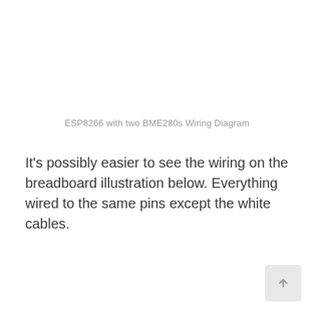ESP8266 with two BME280s Wiring Diagram
It's possibly easier to see the wiring on the breadboard illustration below. Everything wired to the same pins except the white cables.
[Figure (other): Scroll-to-top button icon in bottom-right corner]